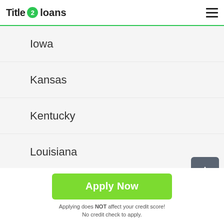Title 2 loans
Iowa
Kansas
Kentucky
Louisiana
Maine
Apply Now
Applying does NOT affect your credit score! No credit check to apply.